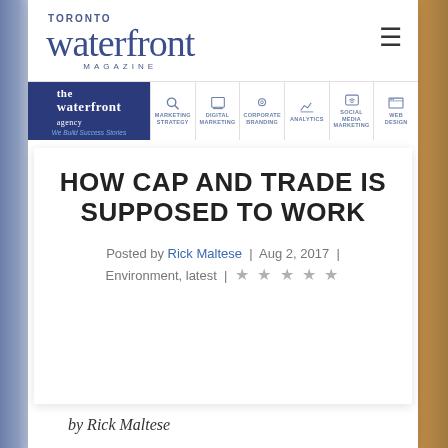[Figure (logo): Toronto Waterfront Magazine logo with stylized large 'waterfront' text in blue, 'TORONTO' above and 'MAGAZINE' below]
[Figure (screenshot): Navigation banner for The Waterfront Agency with dark blue logo block and service icons: Marketing Strategy, Digital Marketing, Corporate Branding, Analytics, Social Media Marketing, Web Design]
HOW CAP AND TRADE IS SUPPOSED TO WORK
Posted by Rick Maltese | Aug 2, 2017 | Environment, latest |
by Rick Maltese